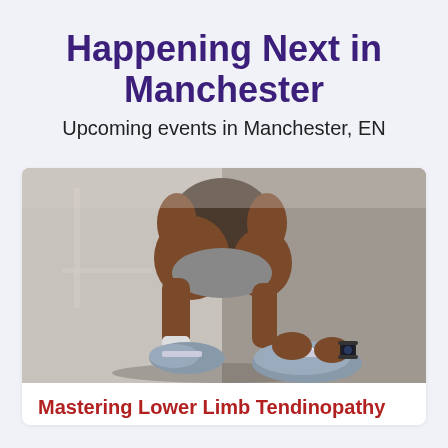Happening Next in Manchester
Upcoming events in Manchester, EN
[Figure (photo): A person crouching down tying their grey running shoe on a road, wearing athletic clothing and a sports watch.]
Mastering Lower Limb Tendinopathy